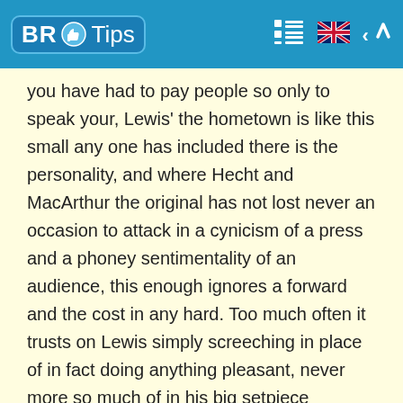BR Tips
you have had to pay people so only to speak your, Lewis' the hometown is like this small any one has included there is the personality, and where Hecht and MacArthur the original has not lost never an occasion to attack in a cynicism of a press and a phoney sentimentality of an audience, this enough ignores a forward and the cost in any hard. Too much often it trusts on Lewis simply screeching in place of in fact doing anything pleasant, never more so much of in his big setpiece concealed sees impersonate the Viennese, Chinese and French doctor simultaneously which so only directs to be both strong and unfunny and leave